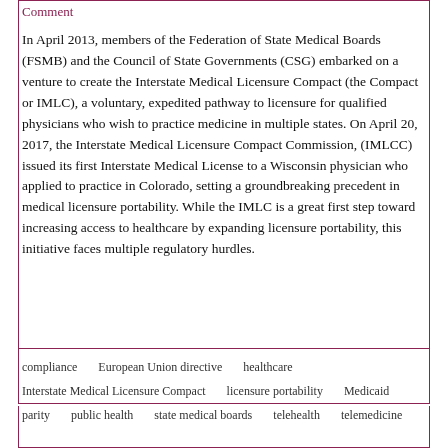Comment
In April 2013, members of the Federation of State Medical Boards (FSMB) and the Council of State Governments (CSG) embarked on a venture to create the Interstate Medical Licensure Compact (the Compact or IMLC), a voluntary, expedited pathway to licensure for qualified physicians who wish to practice medicine in multiple states. On April 20, 2017, the Interstate Medical Licensure Compact Commission, (IMLCC) issued its first Interstate Medical License to a Wisconsin physician who applied to practice in Colorado, setting a groundbreaking precedent in medical licensure portability. While the IMLC is a great first step toward increasing access to healthcare by expanding licensure portability, this initiative faces multiple regulatory hurdles.
compliance
European Union directive
healthcare
Interstate Medical Licensure Compact
licensure portability
Medicaid
parity
public health
state medical boards
telehealth
telemedicine